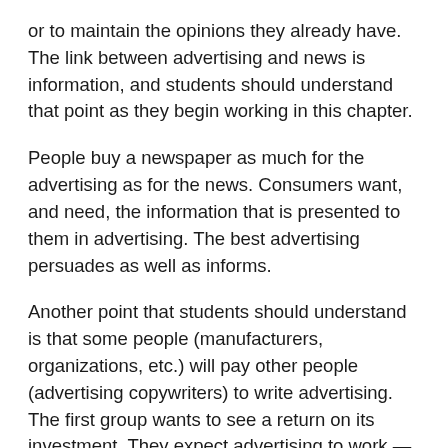or to maintain the opinions they already have. The link between advertising and news is information, and students should understand that point as they begin working in this chapter.
People buy a newspaper as much for the advertising as for the news. Consumers want, and need, the information that is presented to them in advertising. The best advertising persuades as well as informs.
Another point that students should understand is that some people (manufacturers, organizations, etc.) will pay other people (advertising copywriters) to write advertising. The first group wants to see a return on its investment. They expect advertising to work — to do what they expect it to do, whether that's to sell more of a product, enhance the reputation of a company, increase the name recognition of an organization, etc. If the advertising does not work, the people who pay for it will not continue to do so. Consequently, students should